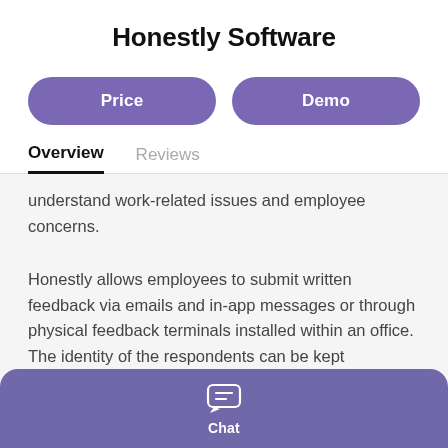Honestly Software
Price
Demo
Overview
Reviews
understand work-related issues and employee concerns.
Honestly allows employees to submit written feedback via emails and in-app messages or through physical feedback terminals installed within an office. The identity of the respondents can be kept anonymous
Chat